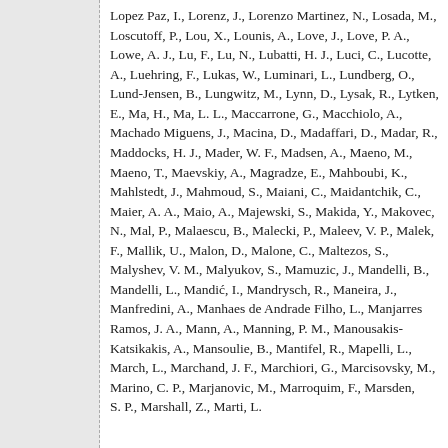Lopez Paz, I., Lorenz, J., Lorenzo Martinez, N., Losada, M., Loscutoff, P., Lou, X., Lounis, A., Love, J., Love, P. A., Lowe, A. J., Lu, F., Lu, N., Lubatti, H. J., Luci, C., Lucotte, A., Luehring, F., Lukas, W., Luminari, L., Lundberg, O., Lund-Jensen, B., Lungwitz, M., Lynn, D., Lysak, R., Lytken, E., Ma, H., Ma, L. L., Maccarrone, G., Macchiolo, A., Machado Miguens, J., Macina, D., Madaffari, D., Madar, R., Maddocks, H. J., Mader, W. F., Madsen, A., Maeno, M., Maeno, T., Maevskiy, A., Magradze, E., Mahboubi, K., Mahlstedt, J., Mahmoud, S., Maiani, C., Maidantchik, C., Maier, A. A., Maio, A., Majewski, S., Makida, Y., Makovec, N., Mal, P., Malaescu, B., Malecki, P., Maleev, V. P., Malek, F., Mallik, U., Malon, D., Malone, C., Maltezos, S., Malyshev, V. M., Malyukov, S., Mamuzic, J., Mandelli, B., Mandelli, L., Mandić, I., Mandrysch, R., Maneira, J., Manfredini, A., Manhaes de Andrade Filho, L., Manjarres Ramos, J. A., Mann, A., Manning, P. M., Manousakis-Katsikakis, A., Mansoulie, B., Mantifel, R., Mapelli, L., March, L., Marchand, J. F., Marchiori, G., Marcisovsky, M., Marino, C. P., Marjanovic, M., Marroquim, F., Marsden, S. P., Marshall, Z., Marti, L.